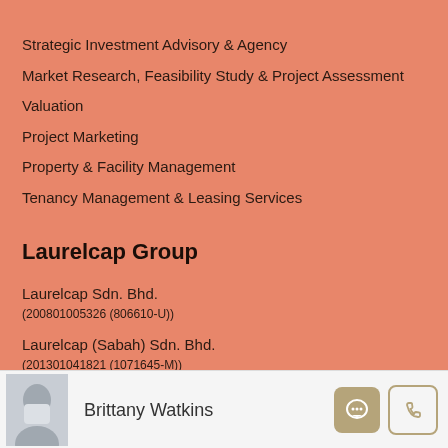Strategic Investment Advisory & Agency
Market Research, Feasibility Study & Project Assessment
Valuation
Project Marketing
Property & Facility Management
Tenancy Management & Leasing Services
Laurelcap Group
Laurelcap Sdn. Bhd.
(200801005326 (806610-U))
Laurelcap (Sabah) Sdn. Bhd.
(201301041821 (1071645-M))
Laurelcap Real Estate (KL) Sdn. Bhd.
(201501035874 (1161194-D))
Brittany Watkins